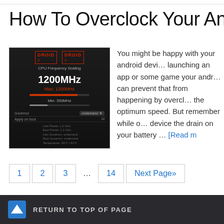How To Overclock Your Android D
[Figure (screenshot): Screenshot of an Android CPU overclocking app showing Droid X interface with 1200MHz frequency setting, Max: 1200MHz and Min: 350MHz sliders]
You might be happy with your android device but when launching an app or some game your android slows down. You can prevent that from happening by overclocking it to get the optimum speed. But remember while overclocking your device the drain on your battery … [Read m
1
2
3
…
14
Next Page»
RETURN TO TOP OF PAGE